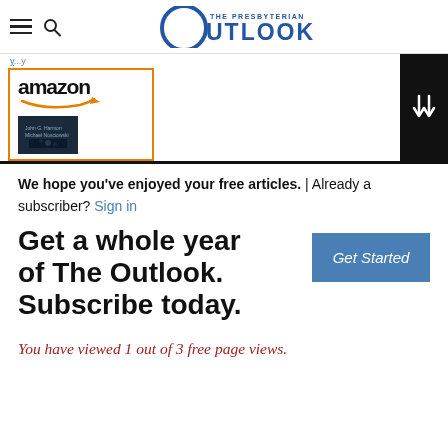The Presbyterian Outlook
[Figure (logo): Amazon advertisement with orange-bordered box showing amazon logo with smile arrow and a book cover]
We hope you've enjoyed your free articles. | Already a subscriber? Sign in
Get a whole year of The Outlook. Subscribe today.
You have viewed 1 out of 3 free page views.